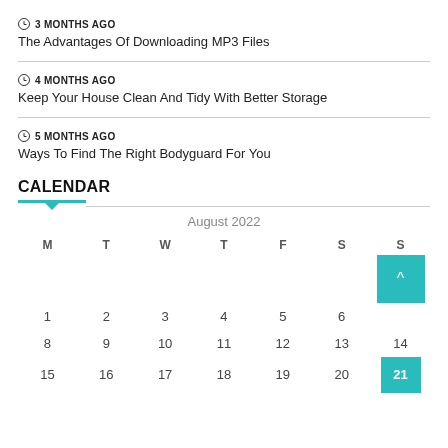3 MONTHS AGO
The Advantages Of Downloading MP3 Files
4 MONTHS AGO
Keep Your House Clean And Tidy With Better Storage
5 MONTHS AGO
Ways To Find The Right Bodyguard For You
CALENDAR
| M | T | W | T | F | S | S |
| --- | --- | --- | --- | --- | --- | --- |
|  |  |  |  |  |  | 7 |
| 1 | 2 | 3 | 4 | 5 | 6 | ^ |
| 8 | 9 | 10 | 11 | 12 | 13 | 14 |
| 15 | 16 | 17 | 18 | 19 | 20 | 21 |